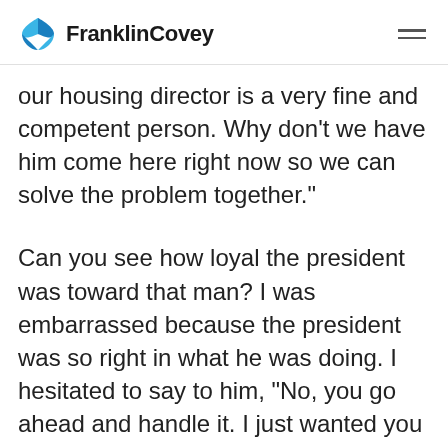FranklinCovey
our housing director is a very fine and competent person. Why don't we have him come here right now so we can solve the problem together."
Can you see how loyal the president was toward that man? I was embarrassed because the president was so right in what he was doing. I hesitated to say to him, "No, you go ahead and handle it. I just wanted you